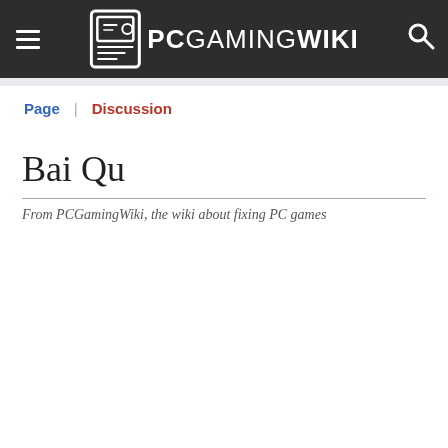PCGamingWiki
Page | Discussion
Bai Qu
From PCGamingWiki, the wiki about fixing PC games